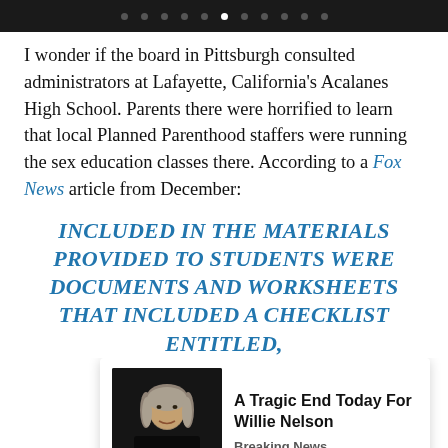I wonder if the board in Pittsburgh consulted administrators at Lafayette, California's Acalanes High School. Parents there were horrified to learn that local Planned Parenthood staffers were running the sex education classes there. According to a Fox News article from December:
INCLUDED IN THE MATERIALS PROVIDED TO STUDENTS WERE DOCUMENTS AND WORKSHEETS THAT INCLUDED A CHECKLIST ENTITLED,
[Figure (photo): Popup advertisement card showing a photo of an elderly man (Willie Nelson) with headline 'A Tragic End Today For Willie Nelson' and subheading 'Breaking News']